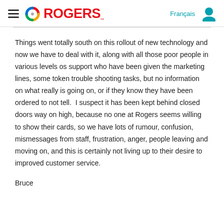ROGERS
Things went totally south on this rollout of new technology and now we have to deal with it, along with all those poor people in various levels os support who have been given the marketing lines, some token trouble shooting tasks, but no information on what really is going on, or if they know they have been ordered to not tell.  I suspect it has been kept behind closed doors way on high, because no one at Rogers seems willing to show their cards, so we have lots of rumour, confusion, mismessages from staff, frustration, anger, people leaving and moving on, and this is certainly not living up to their desire to improved customer service.
Bruce